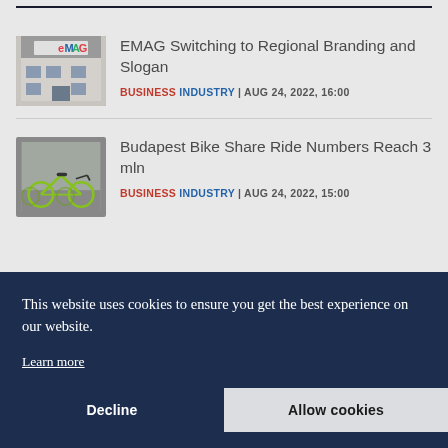[Figure (photo): Photo of EMAG store exterior with colorful EMAG logo sign on building facade]
EMAG Switching to Regional Branding and Slogan
BUSINESS INDUSTRY | AUG 24, 2022, 16:00
[Figure (photo): Photo of bright green Mol Bubi shared bicycles parked on a street]
Budapest Bike Share Ride Numbers Reach 3 mln
BUSINESS INDUSTRY | AUG 24, 2022, 15:00
This website uses cookies to ensure you get the best experience on our website.
Learn more
Decline
Allow cookies